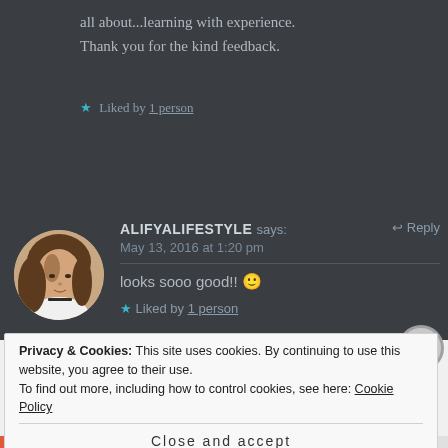all about...learning with experience. Thank you for the kind feedback.
★ Liked by 1 person
[Figure (photo): Circular avatar photo of a woman with long brown hair wearing a white top and black choker necklace]
ALIFYALIFESTYLE says: ↩ Reply
May 13, 2016 at 1:20 pm

looks sooo good!! 🙂
★ Liked by 1 person
Privacy & Cookies: This site uses cookies. By continuing to use this website, you agree to their use. To find out more, including how to control cookies, see here: Cookie Policy
Close and accept